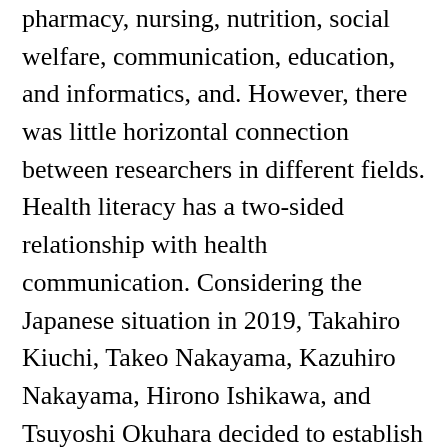pharmacy, nursing, nutrition, social welfare, communication, education, and informatics, and. However, there was little horizontal connection between researchers in different fields. Health literacy has a two-sided relationship with health communication. Considering the Japanese situation in 2019, Takahiro Kiuchi, Takeo Nakayama, Kazuhiro Nakayama, Hirono Ishikawa, and Tsuyoshi Okuhara decided to establish the Japanese Health Literacy Association (JHLA) and invited related researchers to participate in itcollaborative projects. In consultation with the Japanese Association of Health Communication (JAHC), its secretariat and membership management system had been shared among the two societies and JHLA had operated as a subsidiary of the JAHC since 2020. In 2020, Health Communication Week Organization (HCWO) was established and JAHC and JHLA become subsidiaries of HCWO. We welcome the participation of scholars in promoting health literacy- related research in Japan in addition to the above-mentioned